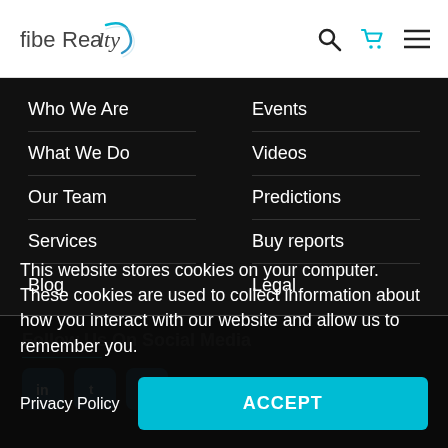[Figure (logo): fibeRealty logo with arc/swoosh graphic]
Who We Are
What We Do
Our Team
Services
Blog
Events
Videos
Predictions
Buy reports
Legal
This website stores cookies on your computer. These cookies are used to collect information about how you interact with our website and allow us to remember you.
Privacy Policy
ACCEPT